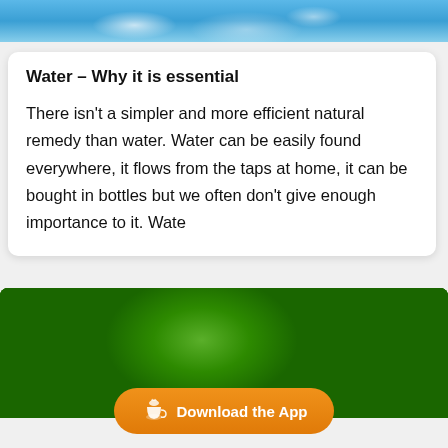[Figure (photo): Water splash background image in blue tones at the top of the page]
Water – Why it is essential
There isn't a simpler and more efficient natural remedy than water. Water can be easily found everywhere, it flows from the taps at home, it can be bought in bottles but we often don't give enough importance to it. Wate
[Figure (photo): Close-up photo of fresh green broccoli with water droplets]
Download the App